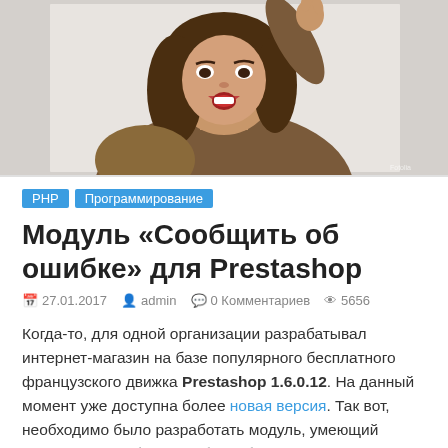[Figure (photo): Photo of a woman with brown hair wearing a brown sweater, with her hand raised near her head, mouth open in a surprised expression. Photo appears to be a stock image.]
PHP
Программирование
Модуль «Сообщить об ошибке» для Prestashop
27.01.2017  admin  0 Комментариев  5656
Когда-то, для одной организации разрабатывал интернет-магазин на базе популярного бесплатного французского движка Prestashop 1.6.0.12. На данный момент уже доступна более новая версия. Так вот, необходимо было разработать модуль, умеющий отправлять сообщение об ошибке в тексте. Пользователь выделяет слово или фразу, а затем нажимает